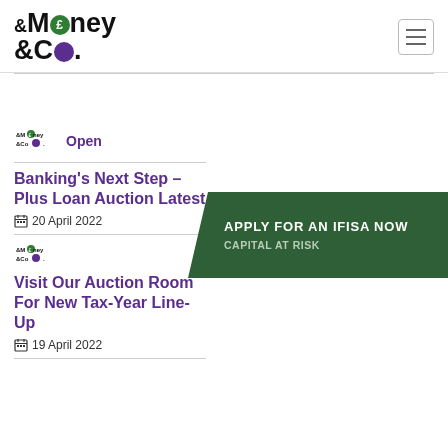Money & Co. — navigation header with hamburger menu
Open
[Figure (logo): Small Money & Co. logo thumbnail]
Banking's Next Step – Plus Loan Auction Latest
20 April 2022
[Figure (infographic): APPLY FOR AN IFISA NOW — CAPITAL AT RISK dark green banner with chevron shape]
[Figure (logo): Small Money & Co. logo thumbnail]
Visit Our Auction Room For New Tax-Year Line-Up
19 April 2022